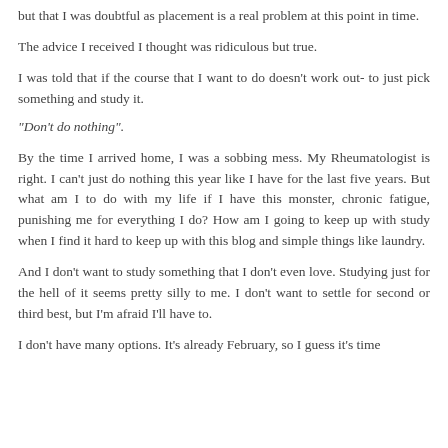but that I was doubtful as placement is a real problem at this point in time.
The advice I received I thought was ridiculous but true.
I was told that if the course that I want to do doesn't work out- to just pick something and study it.
"Don't do nothing".
By the time I arrived home, I was a sobbing mess. My Rheumatologist is right. I can't just do nothing this year like I have for the last five years. But what am I to do with my life if I have this monster, chronic fatigue, punishing me for everything I do? How am I going to keep up with study when I find it hard to keep up with this blog and simple things like laundry.
And I don't want to study something that I don't even love. Studying just for the hell of it seems pretty silly to me. I don't want to settle for second or third best, but I'm afraid I'll have to.
I don't have many options. It's already February, so I guess it's time